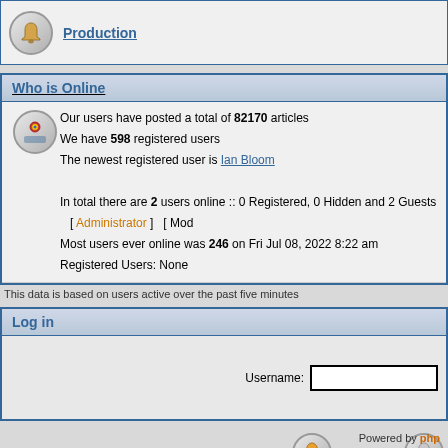Production
Who is Online
Our users have posted a total of 82170 articles
We have 598 registered users
The newest registered user is Ian Bloom
In total there are 2 users online :: 0 Registered, 0 Hidden and 2 Guests   [ Administrator ]  [ Mode
Most users ever online was 246 on Fri Jul 08, 2022 8:22 am
Registered Users: None
This data is based on users active over the past five minutes
Log in
Username:
New posts
Powered by php